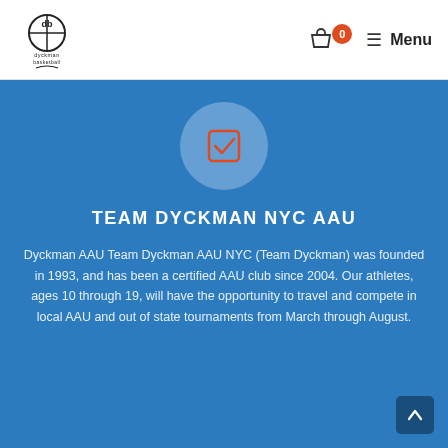Dyckman Basketball — Menu
[Figure (logo): Dyckman Basketball logo with Nike swoosh]
[Figure (illustration): Checkbox icon inside a light blue circle on blue background]
TEAM DYCKMAN NYC AAU
Dyckman AAU Team Dyckman AAU NYC (Team Dyckman) was founded in 1993, and has been a certified AAU club since 2004. Our athletes, ages 10 through 19, will have the opportunity to travel and compete in local AAU and out of state tournaments from March through August.